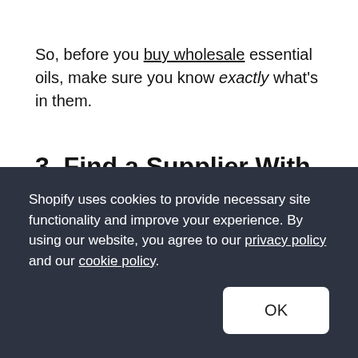So, before you buy wholesale essential oils, make sure you know exactly what's in them.
3. Find a Supplier With Products That Match Your Target Market
Shopify uses cookies to provide necessary site functionality and improve your experience. By using our website, you agree to our privacy policy and our cookie policy.